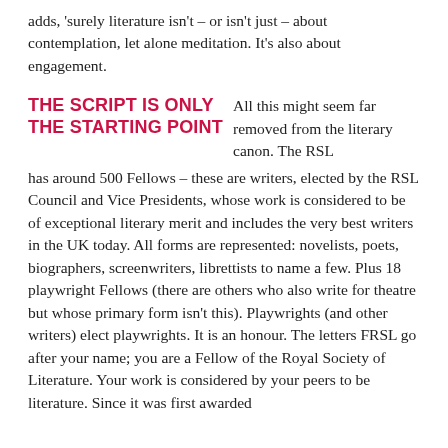adds, 'surely literature isn't – or isn't just – about contemplation, let alone meditation. It's also about engagement.
THE SCRIPT IS ONLY THE STARTING POINT
All this might seem far removed from the literary canon. The RSL has around 500 Fellows – these are writers, elected by the RSL Council and Vice Presidents, whose work is considered to be of exceptional literary merit and includes the very best writers in the UK today. All forms are represented: novelists, poets, biographers, screenwriters, librettists to name a few. Plus 18 playwright Fellows (there are others who also write for theatre but whose primary form isn't this). Playwrights (and other writers) elect playwrights. It is an honour. The letters FRSL go after your name; you are a Fellow of the Royal Society of Literature. Your work is considered by your peers to be literature. Since it was first awarded